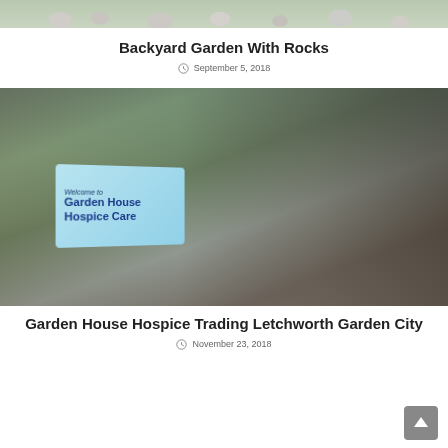[Figure (photo): Top portion of a backyard garden with rocks photo, cropped at the top]
Backyard Garden With Rocks
September 5, 2018
[Figure (photo): Exterior photo of Garden House Hospice Care building with a welcome sign in the foreground]
Garden House Hospice Trading Letchworth Garden City
November 23, 2018